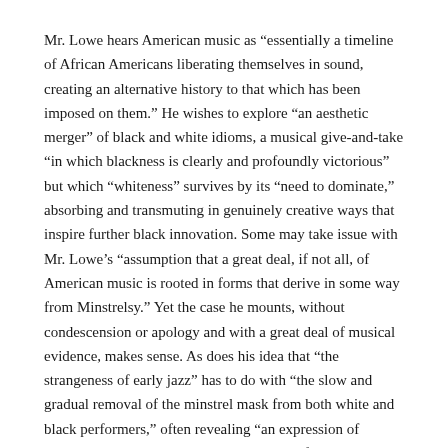Mr. Lowe hears American music as “essentially a timeline of African Americans liberating themselves in sound, creating an alternative history to that which has been imposed on them.” He wishes to explore “an aesthetic merger” of black and white idioms, a musical give-and-take “in which blackness is clearly and profoundly victorious” but which “whiteness” survives by its “need to dominate,” absorbing and transmuting in genuinely creative ways that inspire further black innovation. Some may take issue with Mr. Lowe’s “assumption that a great deal, if not all, of American music is rooted in forms that derive in some way from Minstrelsy.” Yet the case he mounts, without condescension or apology and with a great deal of musical evidence, makes sense. As does his idea that “the strangeness of early jazz” has to do with “the slow and gradual removal of the minstrel mask from both white and black performers,” often revealing “an expression of perplexed, racial ambivalence, a sense that fantasy has replaced reality for so long that we no longer can determine precisely which is which.”
I agree with Mr. Lowe that the ascendance of the all-white Original Dixieland Jazz Band as the first jazz group to make bestselling, mass-marketed phonograph records was “a matter of white supremacy,” but disagree that the group was distinguished by “innate and consistent